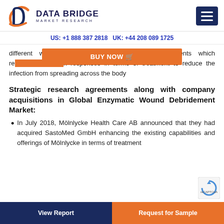DATA BRIDGE MARKET RESEARCH
US: +1 888 387 2818 UK: +44 208 089 1725
different wounds to appear on the skin of patients which re... k responses in terms of treatment to reduce the infection from spreading across the body
Strategic research agreements along with company acquisitions in Global Enzymatic Wound Debridement Market:
In July 2018, Mölnlycke Health Care AB announced that they had acquired SastoMed GmbH enhancing the existing capabilities and offerings of Mölnlycke in terms of treatment
View Report | Request for Sample